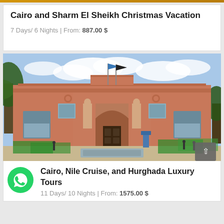Cairo and Sharm El Sheikh Christmas Vacation
7 Days/ 6 Nights | From: 887.00 $
[Figure (photo): Exterior facade of the Egyptian Museum in Cairo, a large neoclassical pink building with arched entrance, statues, and flags, with people and construction netting in front]
Cairo, Nile Cruise, and Hurghada Luxury Tours
11 Days/ 10 Nights | From: 1575.00 $